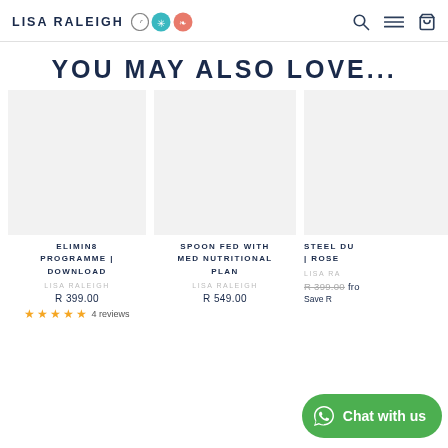LISA RALEIGH — brand header with logo icons, search, menu, and cart icons
YOU MAY ALSO LOVE...
[Figure (photo): Product image placeholder for ELIMIN8 PROGRAMME | DOWNLOAD]
ELIMIN8 PROGRAMME | DOWNLOAD
LISA RALEIGH
R 399.00
★★★★★ 4 reviews
[Figure (photo): Product image placeholder for SPOON FED WITH MED NUTRITIONAL PLAN]
SPOON FED WITH MED NUTRITIONAL PLAN
LISA RALEIGH
R 549.00
[Figure (photo): Partial product image placeholder for STEEL DU | ROSE]
STEEL DU | ROSE
LISA RA
R 399.00 fro
Save R